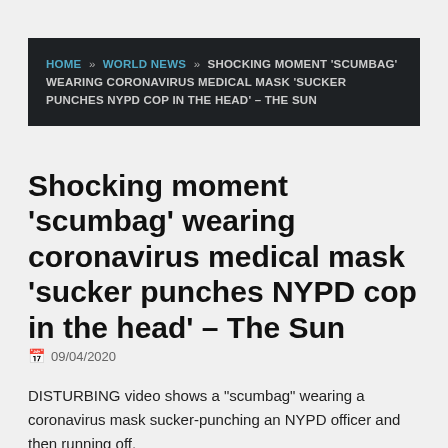HOME » WORLD NEWS » SHOCKING MOMENT 'SCUMBAG' WEARING CORONAVIRUS MEDICAL MASK 'SUCKER PUNCHES NYPD COP IN THE HEAD' – THE SUN
Shocking moment 'scumbag' wearing coronavirus medical mask 'sucker punches NYPD cop in the head' – The Sun
09/04/2020
DISTURBING video shows a "scumbag" wearing a coronavirus mask sucker-punching an NYPD officer and then running off.